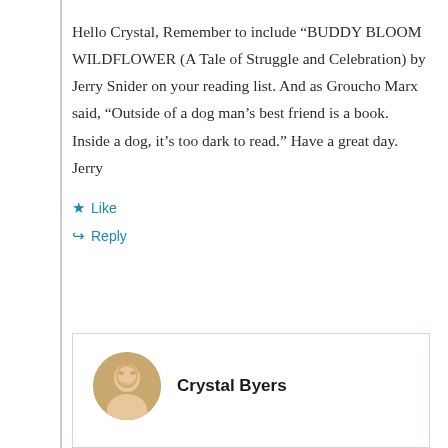Hello Crystal, Remember to include “BUDDY BLOOM WILDFLOWER (A Tale of Struggle and Celebration) by Jerry Snider on your reading list. And as Groucho Marx said, “Outside of a dog man’s best friend is a book. Inside a dog, it’s too dark to read.” Have a great day. Jerry
★ Like
↳ Reply
Crystal Byers